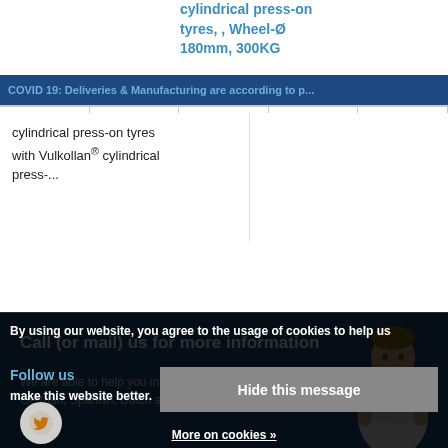cylindrical press-on tyres, , Wheel-Ø 180mm, 300KG
COVID 19: Deliveries & Manufacturing are according to p...
cylindrical press-on tyres with Vulkollan® cylindrical press-...
Call (or mail) us for more information
We are able to help you in English, German, Spanish, Dutch and French!
By using our website, you agree to the usage of cookies to help us make this website better.
Hide this message
Follow us
More on cookies »